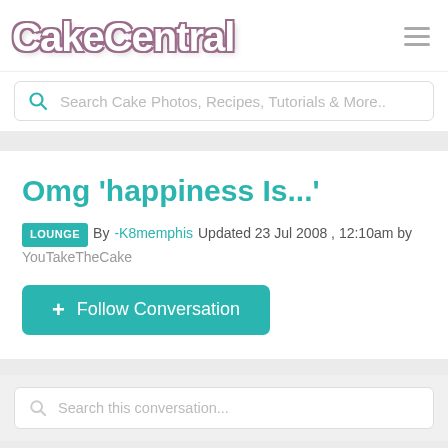CakeCentral
Search Cake Photos, Recipes, Tutorials & More..
Omg 'happiness Is...'
LOUNGE  By -K8memphis  Updated 23 Jul 2008, 12:10am by YouTakeTheCake
+ Follow Conversation
Search this conversation...